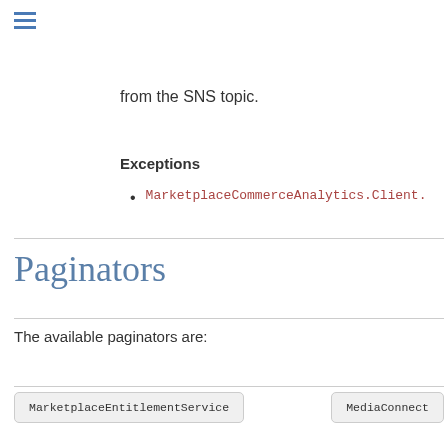from the SNS topic.
Exceptions
MarketplaceCommerceAnalytics.Client.
Paginators
The available paginators are:
MarketplaceEntitlementService
MediaConnect
Privacy | Site Terms | Cookie preferences | © Copyright 2022, Amazon Web Services, Inc. Created using Sphinx.